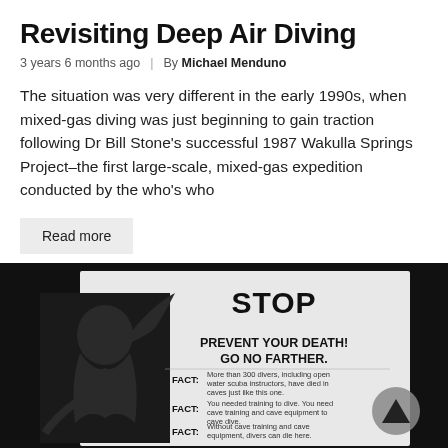Revisiting Deep Air Diving
3 years 6 months ago  |  By Michael Menduno
The situation was very different in the early 1990s, when mixed-gas diving was just beginning to gain traction following Dr Bill Stone's successful 1987 Wakulla Springs Project–the first large-scale, mixed-gas expedition conducted by the who's who
Read more
[Figure (photo): Black and white photo of a cave diving warning sign with a Grim Reaper illustration. Sign text reads: STOP. PREVENT YOUR DEATH! GO NO FARTHER. FACT: More than 300 divers, including open water scuba instructors, have died in caves just like this one. FACT: You needed training to dive. You need cave training and cave equipment to cave dive. FACT: Without cave training and cave equipment, divers can die here. FACT: It CAN happen to YOU!]